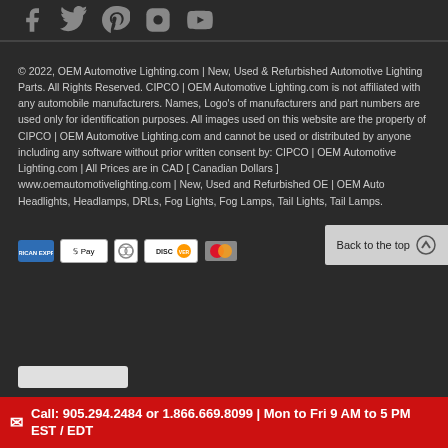[Figure (infographic): Social media icons: Facebook, Twitter, Pinterest, Instagram, YouTube]
© 2022, OEM Automotive Lighting.com | New, Used & Refurbished Automotive Lighting Parts. All Rights Reserved. CIPCO | OEM Automotive Lighting.com is not affiliated with any automobile manufacturers. Names, Logo's of manufacturers and part numbers are used only for identification purposes. All images used on this website are the property of CIPCO | OEM Automotive Lighting.com and cannot be used or distributed by anyone including any software without prior written consent by: CIPCO | OEM Automotive Lighting.com | All Prices are in CAD [ Canadian Dollars ] www.oemautomotivelighting.com | New, Used and Refurbished OE | OEM Auto Headlights, Headlamps, DRLs, Fog Lights, Fog Lamps, Tail Lights, Tail Lamps.
[Figure (infographic): Payment icons: American Express, Apple Pay, Diners Club, Discover, MasterCard]
Back to the top
Call: 905.294.2484 or 1.866.669.8099 | Mon to Fri 9 AM to 5 PM EST / EDT